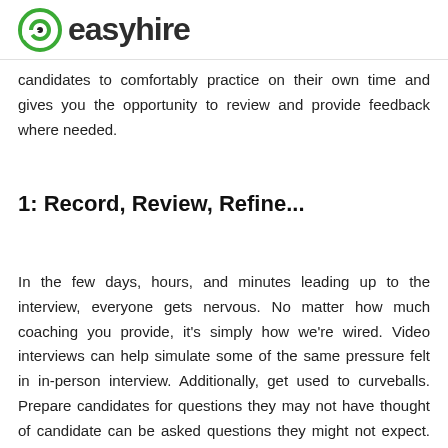easyhire
candidates to comfortably practice on their own time and gives you the opportunity to review and provide feedback where needed.
1: Record, Review, Refine...
In the few days, hours, and minutes leading up to the interview, everyone gets nervous. No matter how much coaching you provide, it's simply how we're wired. Video interviews can help simulate some of the same pressure felt in in-person interview. Additionally, get used to curveballs. Prepare candidates for questions they may not have thought of candidate can be asked questions they might not expect. Being able to practice this scenario over and over will create flexibility in candidates to…